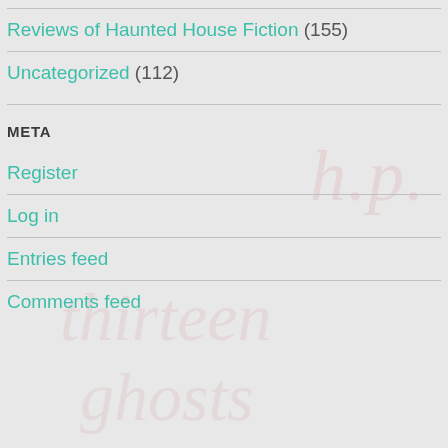Reviews of Haunted House Fiction (155)
Uncategorized (112)
META
Register
Log in
Entries feed
Comments feed